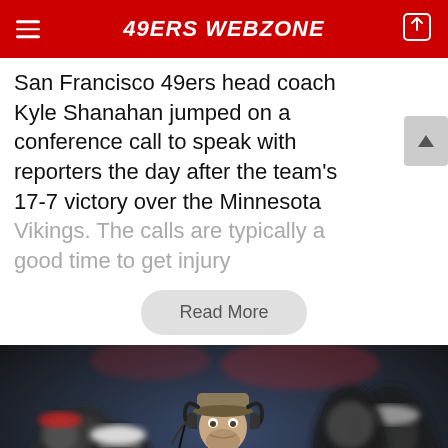49ERS WEBZONE
San Francisco 49ers head coach Kyle Shanahan jumped on a conference call to speak with reporters the day after the team's 17-7 victory over the Minnesota Vikings. The calls are typically a good time to get injury
Read More
[Figure (photo): San Francisco 49ers head coach Kyle Shanahan wearing headset and camouflage cap, looking down at a play sheet on the sideline, surrounded by coaching staff in black and red team gear]